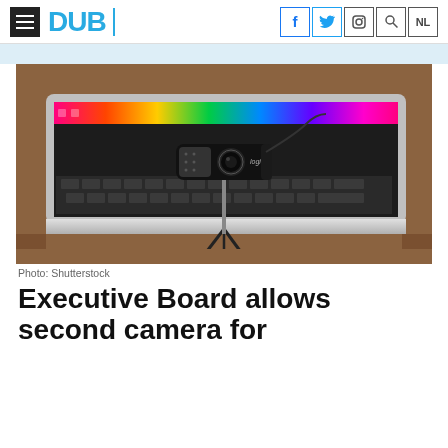DUB
[Figure (photo): A Logitech webcam on a small tripod stand, placed in front of an open MacBook laptop on a wooden desk. The laptop screen shows a colorful gradient/rainbow pattern along the top. Photo by Shutterstock.]
Photo: Shutterstock
Executive Board allows second camera for